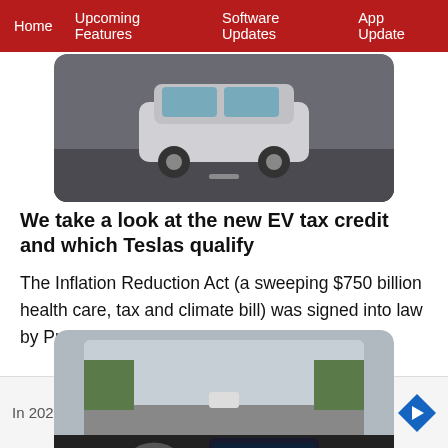Home | Upcoming Features | Software Updates | App Update
[Figure (photo): Tesla Model 3 car driving on a road, side/rear view, photo]
We take a look at the new EV tax credit and which Teslas qualify
The Inflation Reduction Act (a sweeping $750 billion health care, tax and climate bill) was signed into law by Presid...
[Figure (photo): Interior dashboard view of a Tesla vehicle driving on a highway, showing steering wheel and touchscreen]
Tesla wins Autopilot, FSD "misleading" marketing lawsuit
In 202... marke... bilot"
[Figure (infographic): Advertisement bar for TopGolf showing: play icon, TopGolf logo, checkmark Dine-in, X Delivery, navigation arrow icon]